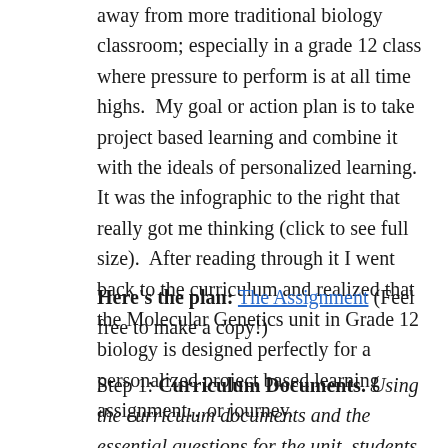away from more traditional biology classroom; especially in a grade 12 class where pressure to perform is at all time highs.  My goal or action plan is to take project based learning and combine it with the ideals of personalized learning.  It was the infographic to the right that really got me thinking (click to see full size).  After reading through it I went back to the curriculum and realized that the Molecular Genetics unit in Grade 12 biology is designed perfectly for a personalized project based learning assignment…or journey.
Here's the plan: The Assignment (Feel free to make a copy!)
Step 1: Curriculum Documents. Using the curriculum documents and the essential questions for the unit, students will decide on a project/thesis that will best lead them